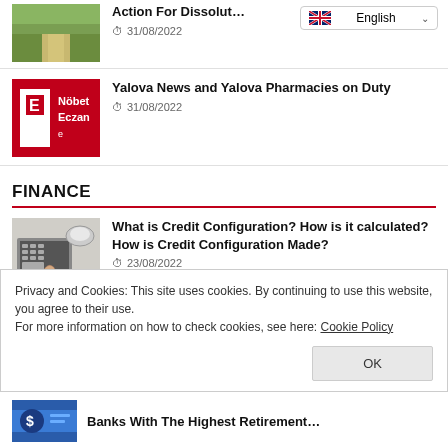[Figure (photo): Road/path landscape photo thumbnail]
Action For Dissolut...
31/08/2022
[Figure (logo): Red pharmacy logo with E and text Nöbetçi Eczane]
Yalova News and Yalova Pharmacies on Duty
31/08/2022
FINANCE
[Figure (photo): Hand pressing calculator keys photo thumbnail]
What is Credit Configuration? How is it calculated? How is Credit Configuration Made?
23/08/2022
Privacy and Cookies: This site uses cookies. By continuing to use this website, you agree to their use.
For more information on how to check cookies, see here: Cookie Policy
[Figure (photo): Bottom article thumbnail preview with flag/image]